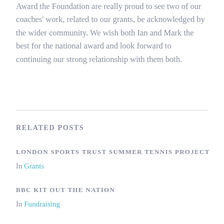Award the Foundation are really proud to see two of our coaches' work, related to our grants, be acknowledged by the wider community. We wish both Ian and Mark the best for the national award and look forward to continuing our strong relationship with them both.
RELATED POSTS
LONDON SPORTS TRUST SUMMER TENNIS PROJECT
In Grants
BBC KIT OUT THE NATION
In Fundraising